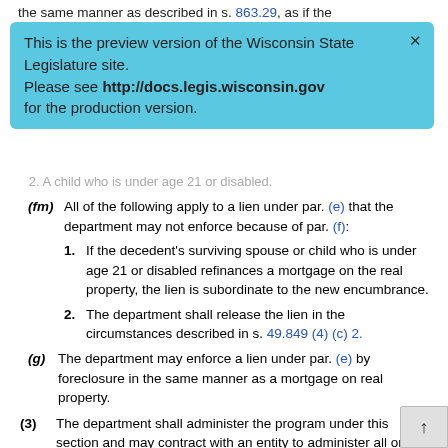the same manner as described in s. 863.29, as if the
This is the preview version of the Wisconsin State Legislature site. Please see http://docs.legis.wisconsin.gov for the production version.
2. A child who is under age 21 or disabled.
(fm) All of the following apply to a lien under par. (e) that the department may not enforce because of par. (f):
1. If the decedent's surviving spouse or child who is under age 21 or disabled refinances a mortgage on the real property, the lien is subordinate to the new encumbrance.
2. The department shall release the lien in the circumstances described in s. 49.849 (4) (c) 2.
(g) The department may enforce a lien under par. (e) by foreclosure in the same manner as a mortgage on real property.
(3) The department shall administer the program under this section and may contract with an entity to administer all or a portion of the program, including gathering and providing the department with information needed to recover payment of aid provided under s. 49.68, 49.683, 49.685, or 49.785. All funds received under this subsection, net of any amount claimed under s. 49.849 (5), shall be remitted for deposit in the general fund.